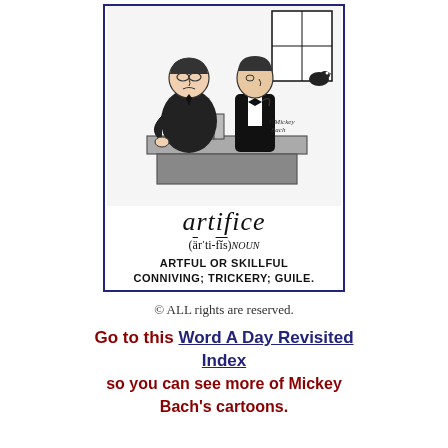[Figure (illustration): A black-and-white cartoon by Mickey Bach showing two figures at a desk, one appearing to be a boss or authority figure and another figure, with a third figure visible through a window. Below the illustration are the word 'artifice', its pronunciation, and definition.]
© ALL rights are reserved.
Go to this Word A Day Revisited Index so you can see more of Mickey Bach's cartoons.